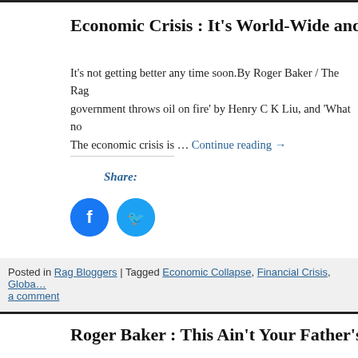Economic Crisis : It’s World-Wide and Lo…
It’s not getting better any time soon.By Roger Baker / The Rag … government throws oil on fire’ by Henry C K Liu, and ‘What no… The economic crisis is … Continue reading →
Share:
[Figure (other): Facebook and Twitter share icon buttons]
Posted in Rag Bloggers | Tagged Economic Collapse, Financial Crisis, Globa… a comment
Roger Baker : This Ain’t Your Father’s ‘Ec…